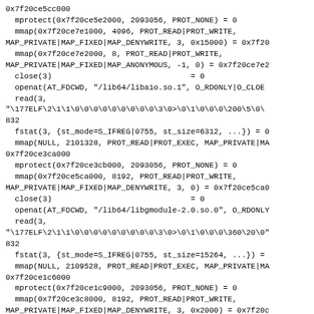0x7f20ce5cc000
  mprotect(0x7f20ce5e2000, 2093056, PROT_NONE) = 0
  mmap(0x7f20ce7e1000, 4096, PROT_READ|PROT_WRITE,
MAP_PRIVATE|MAP_FIXED|MAP_DENYWRITE, 3, 0x15000) = 0x7f20
  mmap(0x7f20ce7e2000, 8, PROT_READ|PROT_WRITE,
MAP_PRIVATE|MAP_FIXED|MAP_ANONYMOUS, -1, 0) = 0x7f20ce7e2
  close(3)                              = 0
  openat(AT_FDCWD, "/lib64/libaio.so.1", O_RDONLY|O_CLOE
  read(3,
"\177ELF\2\1\1\0\0\0\0\0\0\0\0\0\3\0>\0\1\0\0\0\200\5\0\
832
  fstat(3, {st_mode=S_IFREG|0755, st_size=6312, ...}) = 0
  mmap(NULL, 2101328, PROT_READ|PROT_EXEC, MAP_PRIVATE|MA
0x7f20ce3ca000
  mprotect(0x7f20ce3cb000, 2093056, PROT_NONE) = 0
  mmap(0x7f20ce5ca000, 8192, PROT_READ|PROT_WRITE,
MAP_PRIVATE|MAP_FIXED|MAP_DENYWRITE, 3, 0) = 0x7f20ce5ca0
  close(3)                              = 0
  openat(AT_FDCWD, "/lib64/libgmodule-2.0.so.0", O_RDONLY
  read(3,
"\177ELF\2\1\1\0\0\0\0\0\0\0\0\0\3\0>\0\1\0\0\0\360\20\0"
832
  fstat(3, {st_mode=S_IFREG|0755, st_size=15264, ...}) =
  mmap(NULL, 2109528, PROT_READ|PROT_EXEC, MAP_PRIVATE|MA
0x7f20ce1c6000
  mprotect(0x7f20ce1c9000, 2093056, PROT_NONE) = 0
  mmap(0x7f20ce3c8000, 8192, PROT_READ|PROT_WRITE,
MAP_PRIVATE|MAP_FIXED|MAP_DENYWRITE, 3, 0x2000) = 0x7f20c
  close(3)                              = 0
  openat(AT_FDCWD, "/lib64/libglib-2.0.so.0", O_RDONLY|O